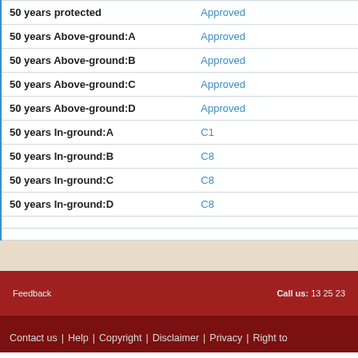| Duration/Type | Status |
| --- | --- |
| 50 years protected | Approved |
| 50 years Above-ground:A | Approved |
| 50 years Above-ground:B | Approved |
| 50 years Above-ground:C | Approved |
| 50 years Above-ground:D | Approved |
| 50 years In-ground:A | C1 |
| 50 years In-ground:B | C8 |
| 50 years In-ground:C | C8 |
| 50 years In-ground:D | C8 |
Feedback | Call us: 13 25 23
Contact us | Help | Copyright | Disclaimer | Privacy | Right to